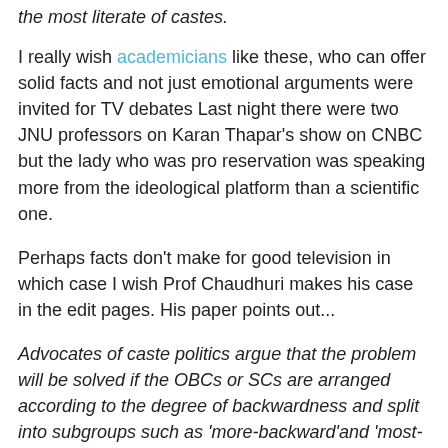the most literate of castes.
I really wish academicians like these, who can offer solid facts and not just emotional arguments were invited for TV debates Last night there were two JNU professors on Karan Thapar's show on CNBC but the lady who was pro reservation was speaking more from the ideological platform than a scientific one.
Perhaps facts don't make for good television in which case I wish Prof Chaudhuri makes his case in the edit pages. His paper points out...
Advocates of caste politics argue that the problem will be solved if the OBCs or SCs are arranged according to the degree of backwardness and split into subgroups such as 'more-backward'and 'most-backward' and sub-quotas created within the total quota. However, the economic status of households varies a great deal within each caste. In a caste, several economic classes exist.
Marginal and small peasants, and landless labourers